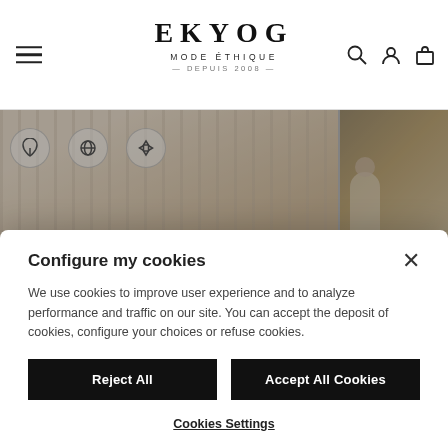EKYOG MODE ÉTHIQUE — DEPUIS 2008 —
[Figure (screenshot): Ekyog ethical fashion website hero section showing four image tiles: top-left with fabric texture and icons for NATURELLE, ECOLOGIQUES, RECYCLÉES; top-right with model in white/tan outfit outdoors; bottom-left with honey/nature closeup; bottom-right with female model in white lace top.]
Configure my cookies
We use cookies to improve user experience and to analyze performance and traffic on our site. You can accept the deposit of cookies, configure your choices or refuse cookies.
Reject All
Accept All Cookies
Cookies Settings